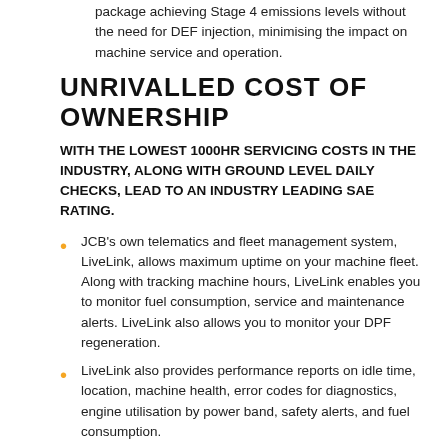package achieving Stage 4 emissions levels without the need for DEF injection, minimising the impact on machine service and operation.
UNRIVALLED COST OF OWNERSHIP
WITH THE LOWEST 1000HR SERVICING COSTS IN THE INDUSTRY, ALONG WITH GROUND LEVEL DAILY CHECKS, LEAD TO AN INDUSTRY LEADING SAE RATING.
JCB's own telematics and fleet management system, LiveLink, allows maximum uptime on your machine fleet. Along with tracking machine hours, LiveLink enables you to monitor fuel consumption, service and maintenance alerts. LiveLink also allows you to monitor your DPF regeneration.
LiveLink also provides performance reports on idle time, location, machine health, error codes for diagnostics, engine utilisation by power band, safety alerts, and fuel consumption.
UNRIVALLED SAFETY AT HEIGHT
THERE'S NO MACHINE THAT WORKS HARDER ON SITE – WITH UNIQUE SAFETY FEATURES, THE 540-170 HI VIZ IS